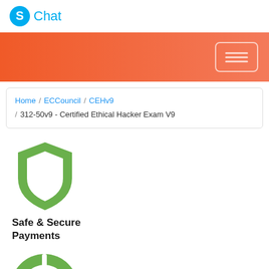S Chat
[Figure (screenshot): Orange gradient banner with a white outlined button on the right side containing three horizontal lines]
Home / ECCouncil / CEHv9 / 312-50v9 - Certified Ethical Hacker Exam V9
[Figure (illustration): Green shield icon with white cutout in the center]
Safe & Secure Payments
[Figure (illustration): Green circular lifebuoy / lifesaver icon]